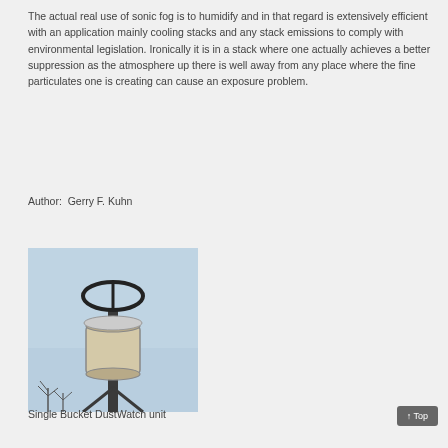The actual real use of sonic fog is to humidify and in that regard is extensively efficient with an application mainly cooling stacks and any stack emissions to comply with environmental legislation. Ironically it is in a stack where one actually achieves a better suppression as the atmosphere up there is well away from any place where the fine particulates one is creating can cause an exposure problem.
Author:  Gerry F. Kuhn
[Figure (photo): Photograph of a Single Bucket DustWatch unit mounted on a pole against a light blue sky, with a cylindrical collection bucket and a circular ring antenna above it, and bare tree branches visible at the bottom.]
Single Bucket DustWatch unit